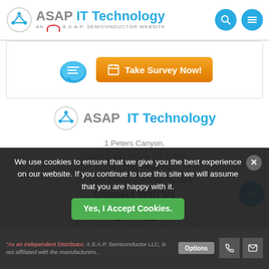ASAP IT Technology — AN A.S.A.P. SEMICONDUCTOR WEBSITE
[Figure (screenshot): Survey banner with chat icon and Take Survey Now button]
[Figure (logo): ASAP IT Technology logo with gear icon]
1 Peters Canyon,
Building 100, Irvine, CA 92606
+1 (714) 705-4780
sales@asap-ittechnology.com
Connect With Us
[Figure (infographic): Social media icons: Facebook, Twitter, YouTube, Pinterest]
We use cookies to ensure that we give you the best experience on our website. If you continue to use this site we will assume that you are happy with it.
Yes, I Accept Cookies.
"As an Independent Distributor, A.S.A.P. Semiconductor LLC, is not affiliated with the manufacturers of the products it sells except as expressly noted otherwise. ASAP Semiconductor is not an authorized distributor, dealer, or representative for the products or manufacturers listed on this website. All rights reserved. All product names, trademarks, brands and logos used on this site are the property of their respective owners."